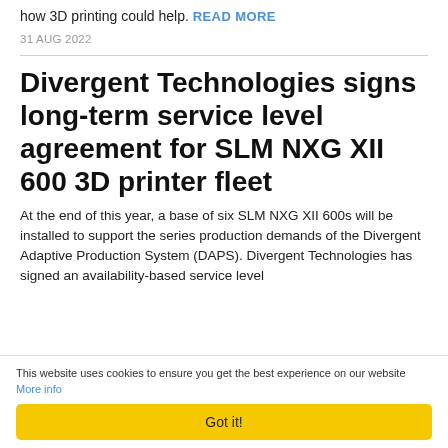how 3D printing could help. READ MORE
31 AUG 2022
Divergent Technologies signs long-term service level agreement for SLM NXG XII 600 3D printer fleet
At the end of this year, a base of six SLM NXG XII 600s will be installed to support the series production demands of the Divergent Adaptive Production System (DAPS). Divergent Technologies has signed an availability-based service level
This website uses cookies to ensure you get the best experience on our website More info
Got it!